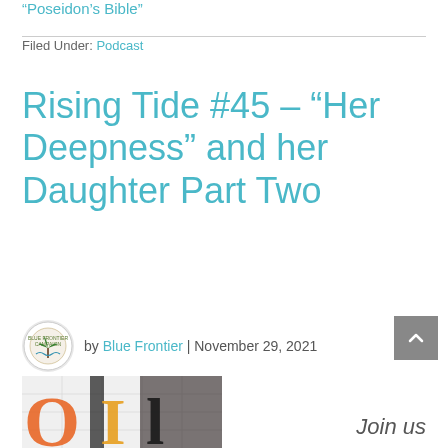“Poseidon’s Bible”
Filed Under: Podcast
Rising Tide #45 – “Her Deepness” and her Daughter Part Two
by Blue Frontier | November 29, 2021
Join us